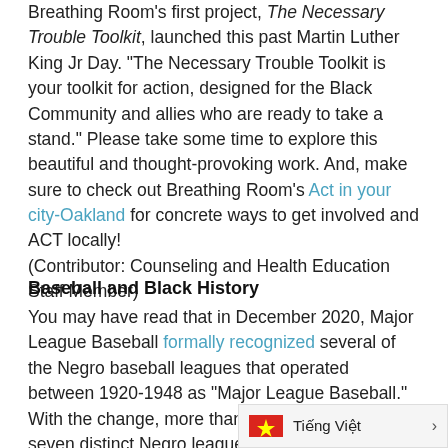Breathing Room's first project, The Necessary Trouble Toolkit, launched this past Martin Luther King Jr Day. "The Necessary Trouble Toolkit is your toolkit for action, designed for the Black Community and allies who are ready to take a stand." Please take some time to explore this beautiful and thought-provoking work. And, make sure to check out Breathing Room's Act in your city-Oakland for concrete ways to get involved and ACT locally!
(Contributor: Counseling and Health Education Staff Member)
Baseball and Black History
You may have read that in December 2020, Major League Baseball formally recognized several of the Negro baseball leagues that operated between 1920-1948 as "Major League Baseball." With the change, more than 3,400 players from seven distinct Negro leagues that operated between 1920 and 1948 will be recognized as major leaguers. And their statistical records will be updated. (NYT) Neg...